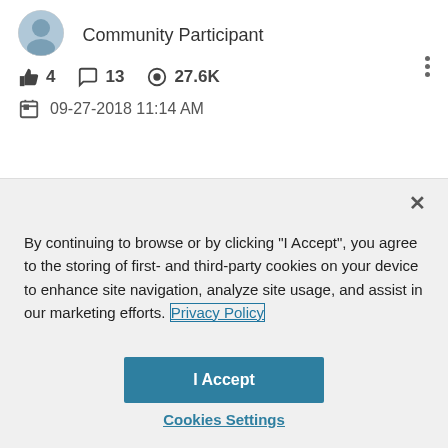[Figure (photo): Circular avatar photo of a person]
Community Participant
4  13  27.6K
09-27-2018 11:14 AM
By continuing to browse or by clicking "I Accept", you agree to the storing of first- and third-party cookies on your device to enhance site navigation, analyze site usage, and assist in our marketing efforts. Privacy Policy
I Accept
Cookies Settings